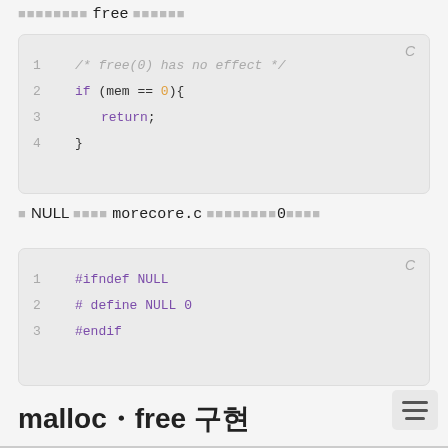xxxxxxxx free xxxxxx
[Figure (screenshot): Code block in C showing: 1 /* free(0) has no effect */ 2 if (mem == 0){ 3     return; 4 }]
x NULL xxxxx morecore.c xxxxxxxxx0xxxxx
[Figure (screenshot): Code block in C showing: 1 #ifndef NULL 2 # define NULL 0 3 #endif]
malloc/free 구현